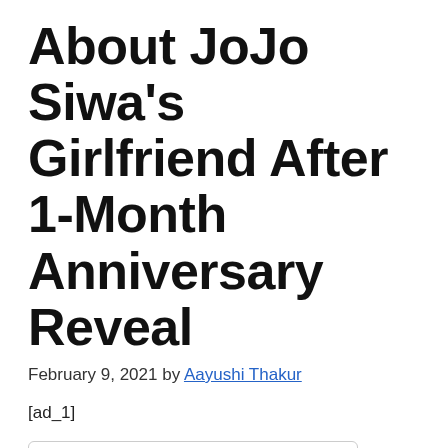About JoJo Siwa's Girlfriend After 1-Month Anniversary Reveal
February 9, 2021 by Aayushi Thakur
[ad_1]
Table of Contents
Who is Kylie Prew? She's